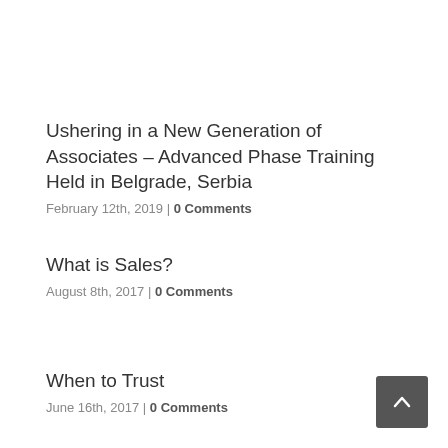Ushering in a New Generation of Associates – Advanced Phase Training Held in Belgrade, Serbia
February 12th, 2019 | 0 Comments
What is Sales?
August 8th, 2017 | 0 Comments
When to Trust
June 16th, 2017 | 0 Comments